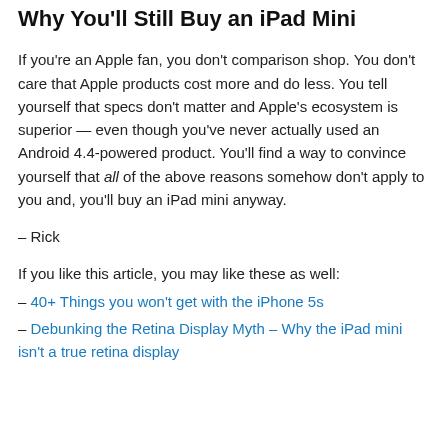Why You'll Still Buy an iPad Mini
If you're an Apple fan, you don't comparison shop. You don't care that Apple products cost more and do less. You tell yourself that specs don't matter and Apple's ecosystem is superior — even though you've never actually used an Android 4.4-powered product. You'll find a way to convince yourself that all of the above reasons somehow don't apply to you and, you'll buy an iPad mini anyway.
– Rick
If you like this article, you may like these as well:
– 40+ Things you won't get with the iPhone 5s
– Debunking the Retina Display Myth – Why the iPad mini isn't a true retina display